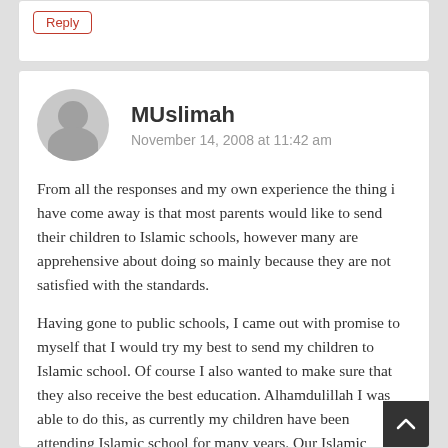Reply
MUslimah
November 14, 2008 at 11:42 am
From all the responses and my own experience the thing i have come away is that most parents would like to send their children to Islamic schools, however many are apprehensive about doing so mainly because they are not satisfied with the standards.
Having gone to public schools, I came out with promise to myself that I would try my best to send my children to Islamic school. Of course I also wanted to make sure that they also receive the best education. Alhamdulillah I was able to do this, as currently my children have been attending Islamic school for many years. Our Islamic school has the same problem with teacher turn over, and community problems, but o